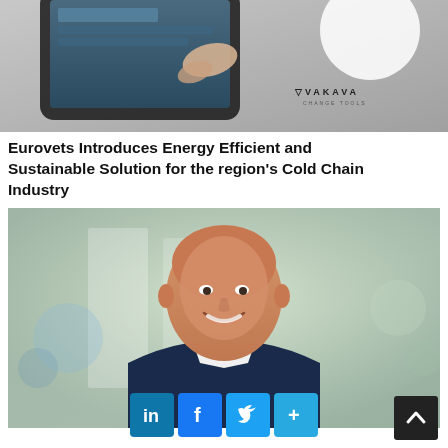[Figure (photo): Top portion of a webpage showing a partial image of hands holding a tablet/phone with the VAKAVA logo visible in the bottom right corner of the image]
Eurovets Introduces Energy Efficient and Sustainable Solution for the region's Cold Chain Industry
[Figure (photo): Professional headshot of a bald middle-aged man in a dark navy suit and white open-collar shirt, smiling, with a blurred modern office interior background]
[Figure (infographic): Social media sharing bar with LinkedIn, Facebook, Twitter, and a plus/more button icons in blue, plus a dark scroll-to-top button on the right]